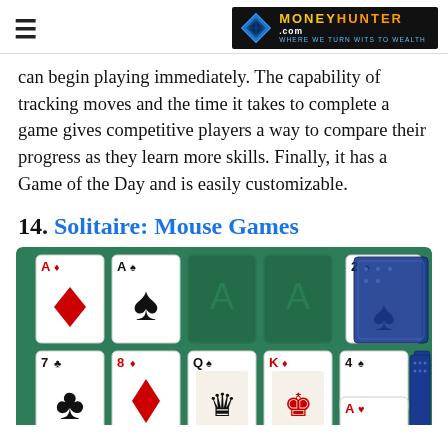MoneyHunter.com — WHERE WE TURN WITS TO WEALTH
can begin playing immediately. The capability of tracking moves and the time it takes to complete a game gives competitive players a way to compare their progress as they learn more skills. Finally, it has a Game of the Day and is easily customizable.
14. Solitaire: Mouse Games
[Figure (screenshot): Screenshot of a Solitaire card game app showing a green card table with playing cards including Ace of Diamonds, Ace of Spades, 2 of Spades, 7 of Clubs, 8 of Diamonds, Queen of Spades, King of Diamonds, 4 of Spades, and Ace of Hearts arranged in solitaire layout.]